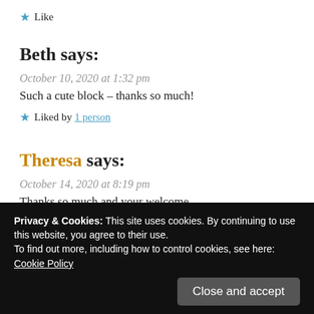★ Like
Beth says:
October 10, 2020 at 1:32 pm
Such a cute block – thanks so much!
★ Liked by 1 person
Theresa says:
October 14, 2020 at 8:19 pm
Thanks so much and your welcome.
★ Like
Privacy & Cookies: This site uses cookies. By continuing to use this website, you agree to their use.
To find out more, including how to control cookies, see here:
Cookie Policy
Close and accept
forward to seeing the completed block on Wednesday and the